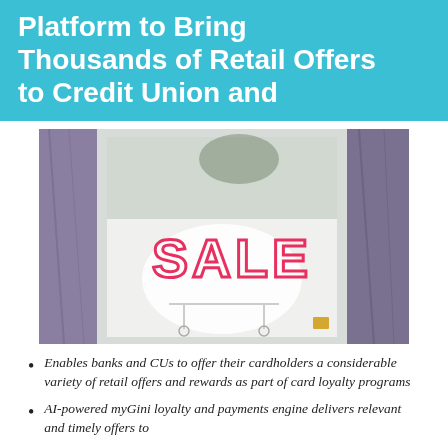Platform to Bring Thousands of Retail Offers to Credit Union and
[Figure (photo): A retail store window displaying a red neon 'SALE' sign. The window is framed by dark marble-like walls on either side, with a bright interior visible behind the glass.]
Enables banks and CUs to offer their cardholders a considerable variety of retail offers and rewards as part of card loyalty programs
AI-powered myGini loyalty and payments engine delivers relevant and timely offers to